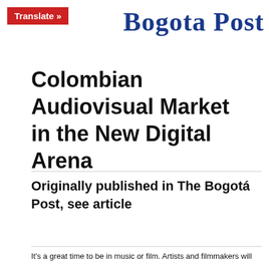Bogota Post
Colombian Audiovisual Market in the New Digital Arena
Originally published in The Bogotá Post, see article
It's a great time to be in music or film. Artists and filmmakers will